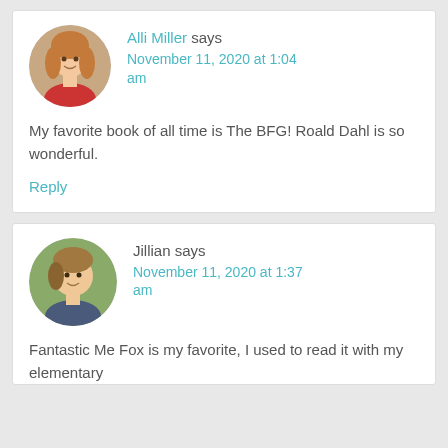Alli Miller says
November 11, 2020 at 1:04 am
My favorite book of all time is The BFG! Roald Dahl is so wonderful.
Reply
Jillian says
November 11, 2020 at 1:37 am
Fantastic Me Fox is my favorite, I used to read it with my elementary